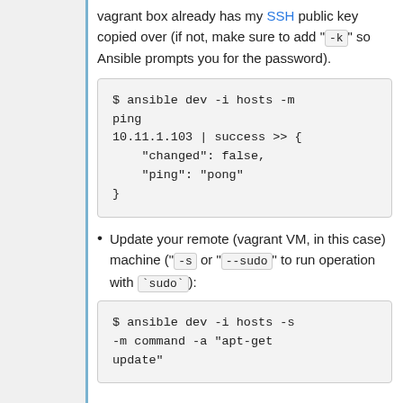vagrant box already has my SSH public key copied over (if not, make sure to add " -k " so Ansible prompts you for the password).
$ ansible dev -i hosts -m ping
10.11.1.103 | success >> {
    "changed": false,
    "ping": "pong"
}
Update your remote (vagrant VM, in this case) machine ("-s or "--sudo" to run operation with `sudo`):
$ ansible dev -i hosts -s
-m command -a "apt-get
update"